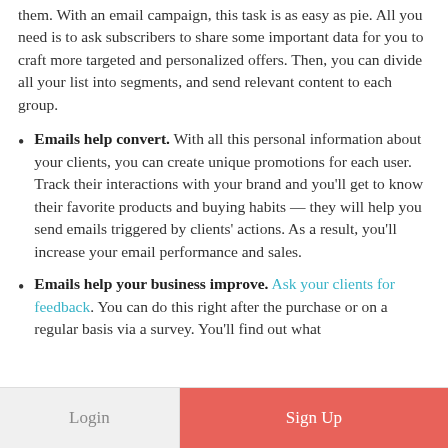them. With an email campaign, this task is as easy as pie. All you need is to ask subscribers to share some important data for you to craft more targeted and personalized offers. Then, you can divide all your list into segments, and send relevant content to each group.
Emails help convert. With all this personal information about your clients, you can create unique promotions for each user. Track their interactions with your brand and you’ll get to know their favorite products and buying habits — they will help you send emails triggered by clients’ actions. As a result, you’ll increase your email performance and sales.
Emails help your business improve. Ask your clients for feedback. You can do this right after the purchase or on a regular basis via a survey. You’ll find out what
Login   Sign Up